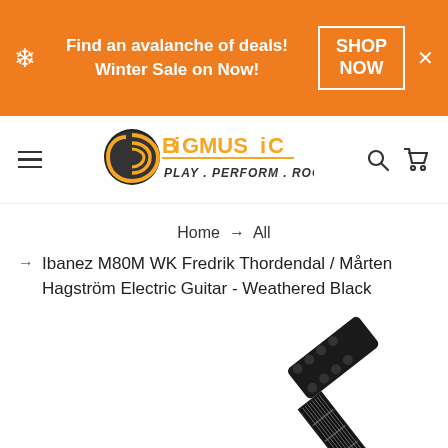Find an avalanche of deals! Winter Sale on Now! SHOP NOW
[Figure (logo): Big Music logo — 'BIG MUSiC PLAY.PERFORM.ROCK!' with orange text and spiral graphic]
Home → All
Ibanez M80M WK Fredrik Thordendal / Mårten Hagström Electric Guitar - Weathered Black
[Figure (photo): Ibanez M80M WK electric guitar in Weathered Black, showing headstock and neck against white background]